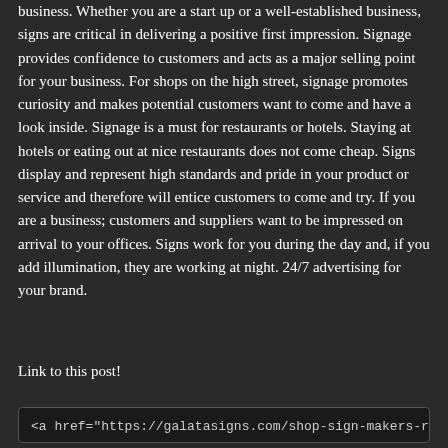business. Whether you are a start up or a well-established business, signs are critical in delivering a positive first impression. Signage provides confidence to customers and acts as a major selling point for your business. For shops on the high street, signage promotes curiosity and makes potential customers want to come and have a look inside. Signage is a must for restaurants or hotels. Staying at hotels or eating out at nice restaurants does not come cheap. Signs display and represent high standards and pride in your product or service and therefore will entice customers to come and try. If you are a business; customers and suppliers want to be impressed on arrival to your offices. Signs work for you during the day and, if you add illumination, they are working at night. 24/7 advertising for your brand.
Link to this post!
<a href="https://galatasigns.com/shop-sign-makers-r